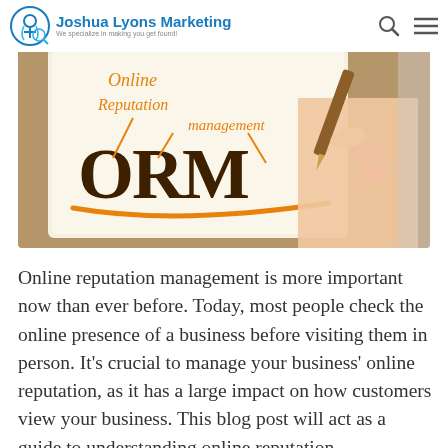Joshua Lyons Marketing — We specialize in making you get found!
[Figure (photo): A hand holding a fountain pen writing 'ORM' in large dark calligraphy on a notebook page, with 'Online Reputation Management' written in cursive orange lettering above, arrows pointing at ORM, and an orange swoosh underline below.]
Online reputation management is more important now than ever before. Today, most people check the online presence of a business before visiting them in person. It's crucial to manage your business' online reputation, as it has a large impact on how customers view your business. This blog post will act as a guide to understanding online reputation management for your business.